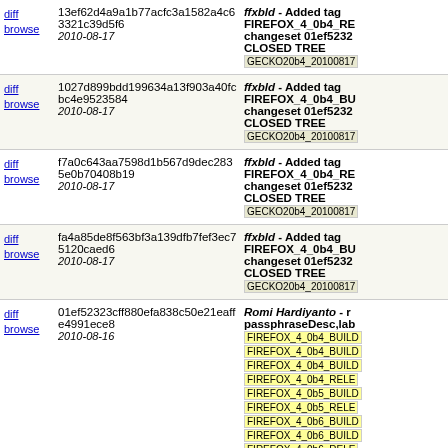diff browse | 13ef62d4a9a1b77acfc3a1582a4c63321c39d5f6 2010-08-17 | ffxbld - Added tag FIREFOX_4_0b4_RE changeset 01ef5232 CLOSED TREE GECKO20b4_20100817
diff browse | 1027d899bdd199634a13f903a40fcbc4e9523584 2010-08-17 | ffxbld - Added tag FIREFOX_4_0b4_BU changeset 01ef5232 CLOSED TREE GECKO20b4_20100817
diff browse | f7a0c643aa7598d1b567d9dec2835e0b70408b19 2010-08-17 | ffxbld - Added tag FIREFOX_4_0b4_RE changeset 01ef5232 CLOSED TREE GECKO20b4_20100817
diff browse | fa4a85de8f563bf3a139dfb7fef3ec75120caed6 2010-08-17 | ffxbld - Added tag FIREFOX_4_0b4_BU changeset 01ef5232 CLOSED TREE GECKO20b4_20100817
diff browse | 01ef52323cff880efa838c50e21eaffe4991ece8 2010-08-16 | Romi Hardiyanto - r passphraseDesc,lab FIREFOX_4_0b4_BUILD FIREFOX_4_0b4_BUILD FIREFOX_4_0b4_BUILD FIREFOX_4_0b4_RELE FIREFOX_4_0b5_BUILD FIREFOX_4_0b5_RELE FIREFOX_4_0b6_BUILD FIREFOX_4_0b6_BUILD FIREFOX_4_0b6_RELE